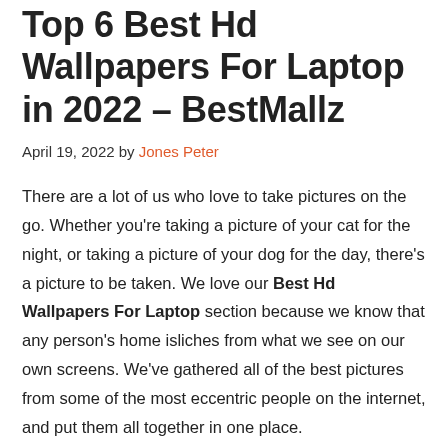Top 6 Best Hd Wallpapers For Laptop in 2022 – BestMallz
April 19, 2022 by Jones Peter
There are a lot of us who love to take pictures on the go. Whether you're taking a picture of your cat for the night, or taking a picture of your dog for the day, there's a picture to be taken. We love our Best Hd Wallpapers For Laptop section because we know that any person's home isliches from what we see on our own screens. We've gathered all of the best pictures from some of the most eccentric people on the internet, and put them all together in one place.